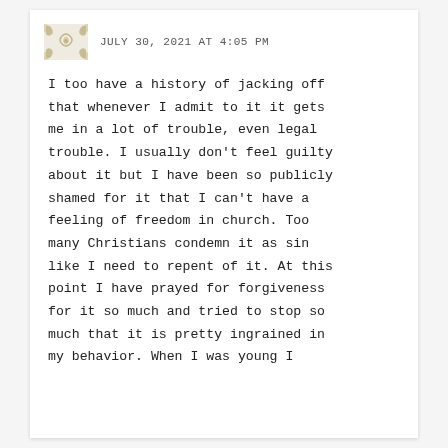JULY 30, 2021 AT 4:05 PM
I too have a history of jacking off that whenever I admit to it it gets me in a lot of trouble, even legal trouble. I usually don’t feel guilty about it but I have been so publicly shamed for it that I can’t have a feeling of freedom in church. Too many Christians condemn it as sin like I need to repent of it. At this point I have prayed for forgiveness for it so much and tried to stop so much that it is pretty ingrained in my behavior. When I was young I